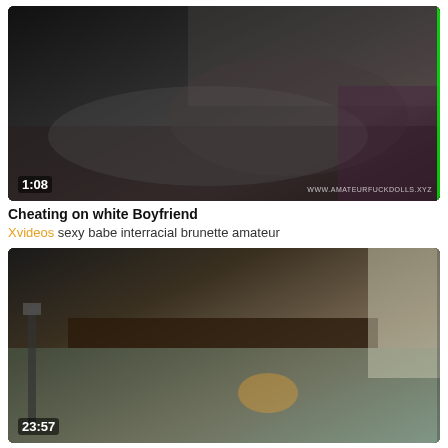[Figure (screenshot): Video thumbnail showing two people on a bed, dark background, duration 1:08, watermark WWW.AMATEURFUCKDOLLS.XYZ]
Cheating on white Boyfriend
Xvideos sexy babe interracial brunette amateur
[Figure (screenshot): Video thumbnail showing person on bed with camera equipment visible, duration 23:57]
aubrey nesbitt using a penis pu...
Pornhub Big Dick Hardcore Mature French German